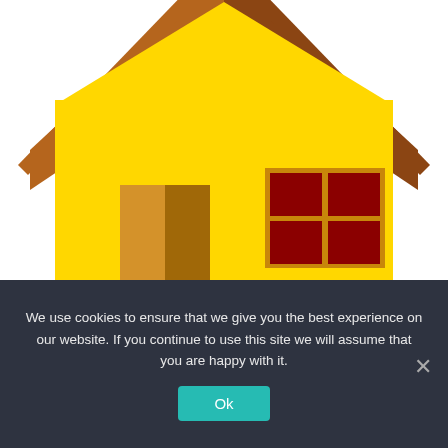[Figure (illustration): Cartoon-style yellow house illustration with brown/orange roof, a door on the left, and a four-pane window with dark red panes on the right. Cropped at the top and bottom edges.]
Exterior Paint Contractors Near me Mesa Arizona – 6 Things To Consider
We use cookies to ensure that we give you the best experience on our website. If you continue to use this site we will assume that you are happy with it.